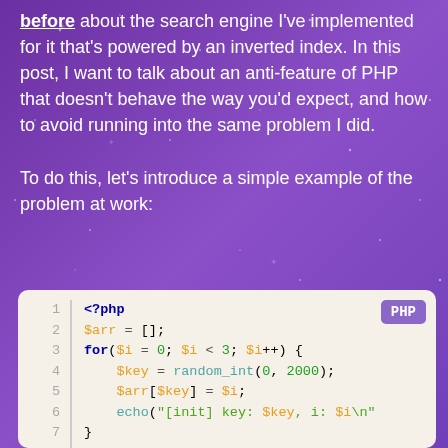before about the search engine I've implemented for it that's powered by an inverted index. In this post, I want to talk about an anti-feature of PHP that doesn't behave the way you'd expect, and how to avoid running into the same problem I did.

To do this, let's introduce a simple example of the problem at work:
[Figure (screenshot): PHP code block with syntax highlighting showing lines 1-10 of PHP code initializing an array, a for loop with random_int, echo statement, and beginning of a foreach loop. Light beige background with colored syntax highlighting.]